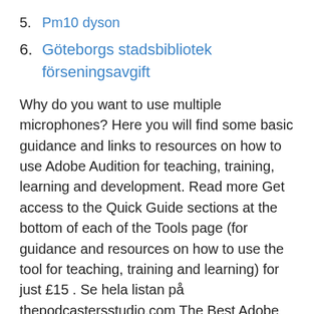5. Pm10 dyson
6. Göteborgs stadsbibliotek förseningsavgift
Why do you want to use multiple microphones? Here you will find some basic guidance and links to resources on how to use Adobe Audition for teaching, training, learning and development. Read more Get access to the Quick Guide sections at the bottom of each of the Tools page (for guidance and resources on how to use the tool for teaching, training and learning) for just £15 . Se hela listan på thepodcastersstudio.com The Best Adobe Audition online courses and tutorials for beginners to learn Adobe Audition in 2021. Whether you are on a marketing team, in a production studio, wanting to learn the basics of audio, or just want to be able to